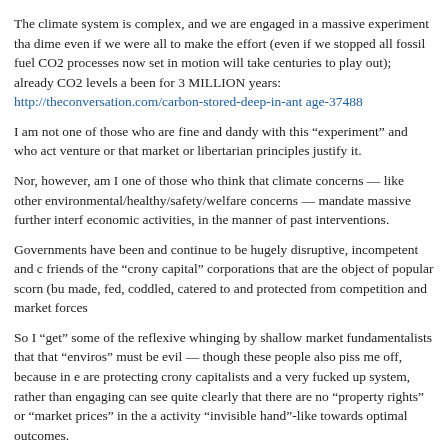The climate system is complex, and we are engaged in a massive experiment tha dime even if we were all to make the effort (even if we stopped all fossil fuel CO2 processes now set in motion will take centuries to play out); already CO2 levels a been for 3 MILLION years: http://theconversation.com/carbon-stored-deep-in-ant age-37488
I am not one of those who are fine and dandy with this “experiment” and who act venture or that market or libertarian principles justify it.
Nor, however, am I one of those who think that climate concerns — like other environmental/healthy/safety/welfare concerns — mandate massive further interf economic activities, in the manner of past interventions.
Governments have been and continue to be hugely disruptive, incompetent and c friends of the “crony capital” corporations that are the object of popular scorn (bu made, fed, coddled, catered to and protected from competition and market forces
So I “get” some of the reflexive whinging by shallow market fundamentalists that that “enviros” must be evil — though these people also piss me off, because in e are protecting crony capitalists and a very fucked up system, rather than engaging can see quite clearly that there are no “property rights” or “market prices” in the a activity “invisible hand”-like towards optimal outcomes.
My suggestions that there are productive climate policies is one that is NOT base climate science or some false expectation that we could easily “fix” the climate (w that our current economic order is profoundly corrupt, costly/inefficient, significan and innovation, socializes real (and generally recognized) pollution costs and pro